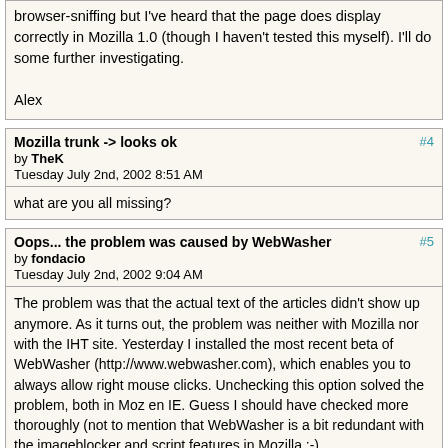browser-sniffing but I've heard that the page does display correctly in Mozilla 1.0 (though I haven't tested this myself). I'll do some further investigating.

Alex
Mozilla trunk -> looks ok
by TheK
Tuesday July 2nd, 2002 8:51 AM
what are you all missing?
Oops... the problem was caused by WebWasher
by fondacio
Tuesday July 2nd, 2002 9:04 AM
The problem was that the actual text of the articles didn't show up anymore. As it turns out, the problem was neither with Mozilla nor with the IHT site. Yesterday I installed the most recent beta of WebWasher (http://www.webwasher.com), which enables you to always allow right mouse clicks. Unchecking this option solved the problem, both in Moz en IE. Guess I should have checked more thoroughly (not to mention that WebWasher is a bit redundant with the imageblocker and script features in Mozilla :-).